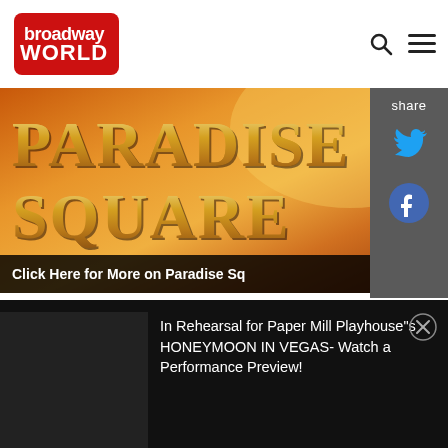broadway WORLD
[Figure (illustration): Paradise Square musical promotional banner with gold metallic text 'PARADISE SQUARE' on warm orange/sunset background with vintage street lantern. Text overlay: 'Click Here for More on Paradise Sq']
Moisés Kaufman to Direct Berkeley Rep's PARADISE SQUARE: AN AMERICAN
In Rehearsal for Paper Mill Playhouse''s HONEYMOON IN VEGAS- Watch a Performance Preview!